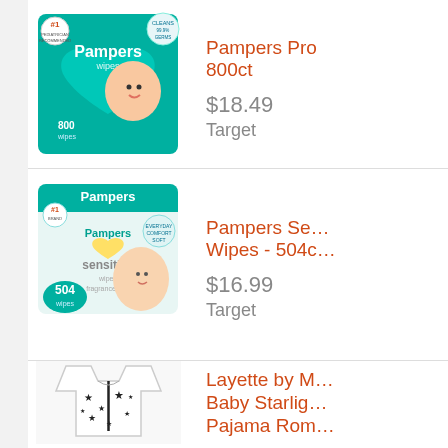[Figure (photo): Pampers baby wipes box, teal/green packaging, 800 count, with baby photo and #1 pediatrician recommended badge]
Pampers Pro 800ct
$18.49
Target
[Figure (photo): Pampers Sensitive baby wipes box, light teal packaging, 504 count, fragrance free, with newborn baby photo]
Pampers Sensitive Wipes - 504ct
$16.99
Target
[Figure (photo): White baby pajama romper with black star pattern and zipper front, from Layette by M Baby Starlight Pajama Romper]
Layette by M… Baby Starlight… Pajama Rom…